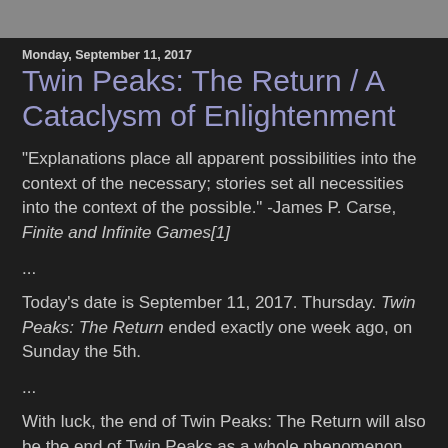Monday, September 11, 2017
Twin Peaks: The Return / A Cataclysm of Enlightenment
"Explanations place all apparent possibilities into the context of the necessary; stories set all necessities into the context of the possible." -James P. Carse, Finite and Infinite Games[1]
...
Today's date is September 11, 2017. Thursday. Twin Peaks: The Return ended exactly one week ago, on Sunday the 5th.
...
With luck, the end of Twin Peaks: The Return will also be the end of Twin Peaks as a whole phenomenon. It's been pushed to its reasonable limit, and at that limit, it's found a